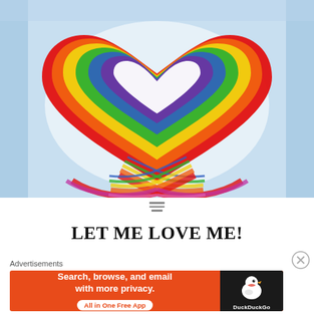[Figure (illustration): Watercolor illustration of a rainbow heart shape. The heart is outlined with rainbow colors (red, orange, yellow, green, blue, violet) on a light blue watercolor background. The rainbow ribbon forms a heart shape and crosses at the bottom like a ribbon, with tails trailing down.]
LET ME LOVE ME!
Advertisements
[Figure (screenshot): DuckDuckGo advertisement banner. Orange background on left side with white bold text: 'Search, browse, and email with more privacy.' and a white pill button reading 'All in One Free App'. Right side is dark/black with the DuckDuckGo duck logo and 'DuckDuckGo' text in white.]